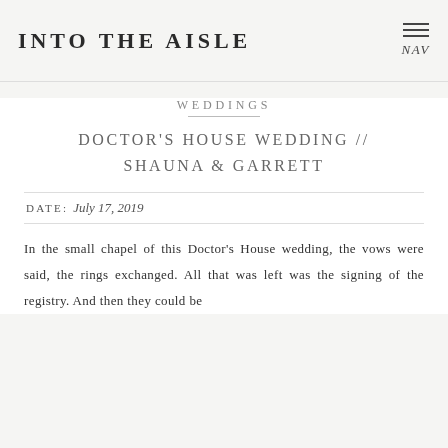INTO THE AISLE
WEDDINGS
DOCTOR'S HOUSE WEDDING // SHAUNA & GARRETT
DATE: July 17, 2019
In the small chapel of this Doctor's House wedding, the vows were said, the rings exchanged. All that was left was the signing of the registry. And then they could be